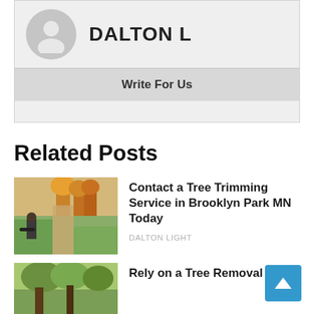[Figure (other): User avatar placeholder circle with silhouette icon]
DALTON L
Write For Us
Related Posts
[Figure (photo): Outdoor park scene with person using a leaf blower on grass path with autumn trees]
Contact a Tree Trimming Service in Brooklyn Park MN Today
DALTON LIGHT
[Figure (photo): Outdoor autumn tree scene, partial view]
Rely on a Tree Removal